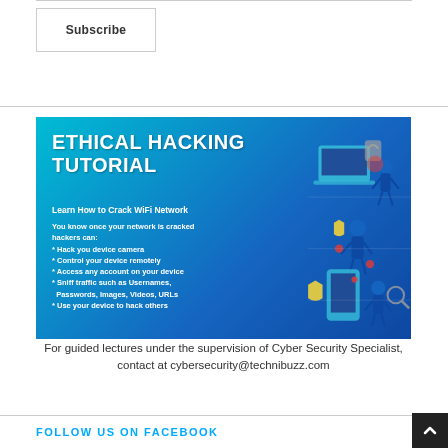Subscribe
[Figure (illustration): Ethical Hacking Tutorial promotional image with blue isometric design showing hacker figures and devices. Contains text: ETHICAL HACKING TUTORIAL, Learn How to Crack WiFi Network, bullet points about network vulnerabilities including Hack you device camera, Control your device remotely, Access any account on your device, Sniff traffic such as Usernames, Passwords, Images, Videos, URLs, Use your device to hack others]
For guided lectures under the supervision of Cyber Security Specialist, contact at cybersecurity@technibuzz.com
FOLLOW US ON FACEBOOK